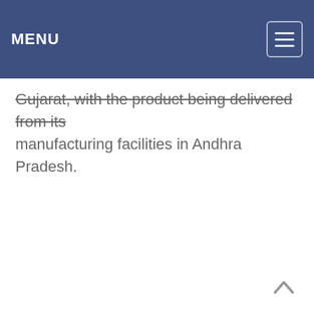MENU
Gujarat, with the product being delivered from its manufacturing facilities in Andhra Pradesh.